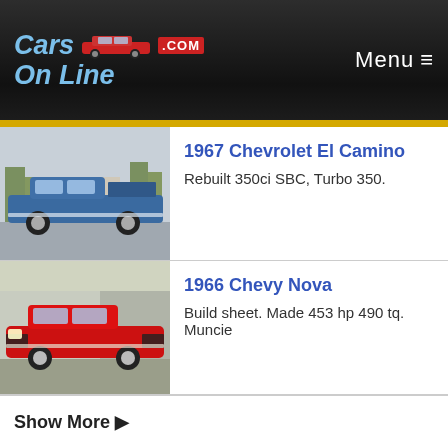Cars On Line .com — Menu ≡
[Figure (screenshot): 1967 Chevrolet El Camino listing: photo of blue classic car on left, title and description on right]
1967 Chevrolet El Camino
Rebuilt 350ci SBC, Turbo 350.
[Figure (screenshot): 1966 Chevy Nova listing: photo of red classic car on left, title and description on right]
1966 Chevy Nova
Build sheet. Made 453 hp 490 tq. Muncie
Show More ▶